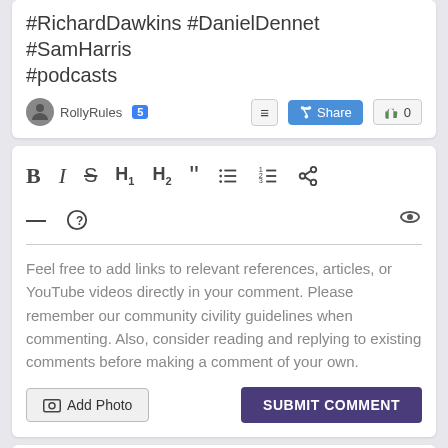#RichardDawkins #DanielDennet #SamHarris #podcasts
RollyRules 5
[Figure (screenshot): Text editor toolbar with formatting icons: B (bold), I (italic), S (strikethrough), H1, H2, blockquote, unordered list, ordered list, link icon, horizontal rule, help icon, preview eye icon]
Feel free to add links to relevant references, articles, or YouTube videos directly in your comment.  Please remember our community civility guidelines when commenting.  Also, consider reading and replying to existing comments before making a comment of your own.
Add Photo
SUBMIT COMMENT
Enjoy being online again!
Welcome to the community of good people who base their values on...